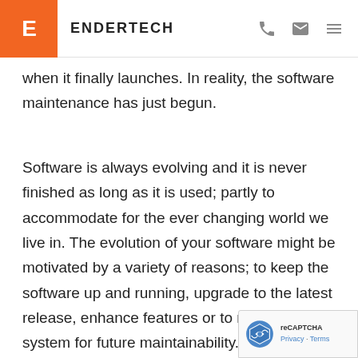ENDERTECH
when it finally launches. In reality, the software maintenance has just begun.
Software is always evolving and it is never finished as long as it is used; partly to accommodate for the ever changing world we live in. The evolution of your software might be motivated by a variety of reasons; to keep the software up and running, upgrade to the latest release, enhance features or to rework the system for future maintainability. No matter the motivation, software maintenance is vital